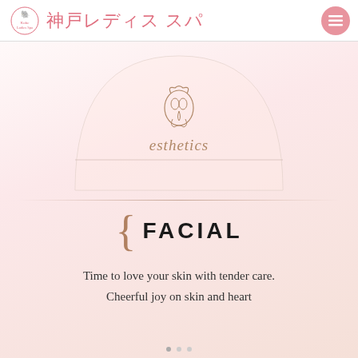神戸レディス スパ
[Figure (logo): Decorative arch semicircle background with ornamental floral/elephant logo above italic text reading 'esthetics']
{ FACIAL
Time to love your skin with tender care.
Cheerful joy on skin and heart